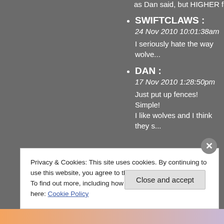as Dan said, but HIGHER fe...
SWIFTCLAWS :
24 Nov 2010 10:01:38am
I seriously hate the way wolve...
DAN :
17 Nov 2010 1:28:50pm
Just put up fences! Simple!
I like wolves and I think they s...
Privacy & Cookies: This site uses cookies. By continuing to use this website, you agree to their use.
To find out more, including how to control cookies, see here: Cookie Policy
Close and accept